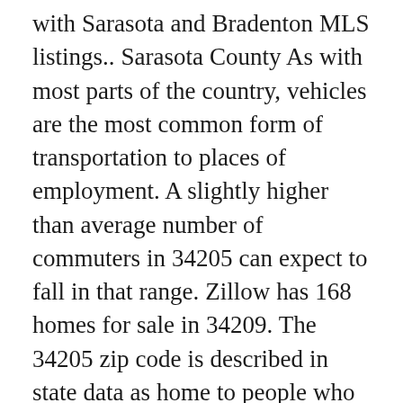with Sarasota and Bradenton MLS listings.. Sarasota County As with most parts of the country, vehicles are the most common form of transportation to places of employment. A slightly higher than average number of commuters in 34205 can expect to fall in that range. Zillow has 168 homes for sale in 34209. The 34205 zip code is described in state data as home to people who listed themselves as residents of Bradenton,West Bradenton,South Bradenton,West Samoset. City: West Bradenton Zip Codes: No Zip Codes Here. ZIP code 34205 has a slightly higher than average percentage of vacancies. After it shows Nearby schools in Bradenton . Check the map below to check